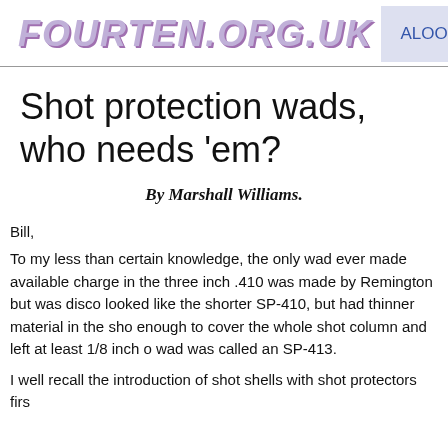FOURTEN.ORG.UK  ALOOF  Home
Shot protection wads, who needs 'em?
By Marshall Williams.
Bill,
To my less than certain knowledge, the only wad ever made available to cover the whole shot charge in the three inch .410 was made by Remington but was disc... It looked like the shorter SP-410, but had thinner material in the shot cup area, was tall enough to cover the whole shot column and left at least 1/8 inch of... The wad was called an SP-413.
I well recall the introduction of shot shells with shot protectors firs...